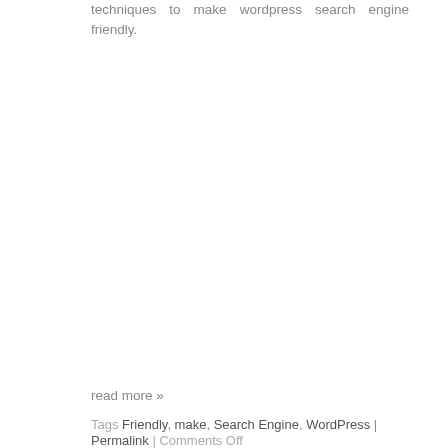techniques to make wordpress search engine friendly.
read more »
Tags Friendly, make, Search Engine, WordPress | Permalink | Comments Off